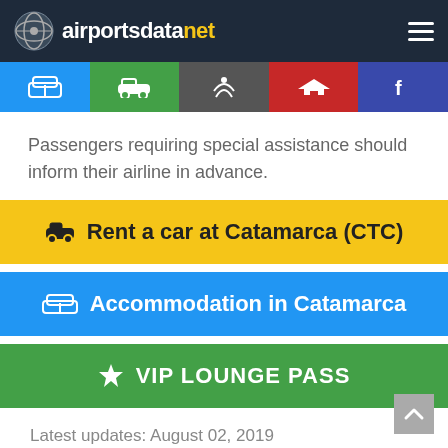airportsdatanet
[Figure (other): Navigation icon tabs: bed/hotel (blue), car (green), cocktail/bar (gray), airplane/flights (red), facebook (dark blue)]
Passengers requiring special assistance should inform their airline in advance.
Rent a car at Catamarca (CTC)
Accommodation in Catamarca
VIP LOUNGE PASS
Latest updates: August 02, 2019